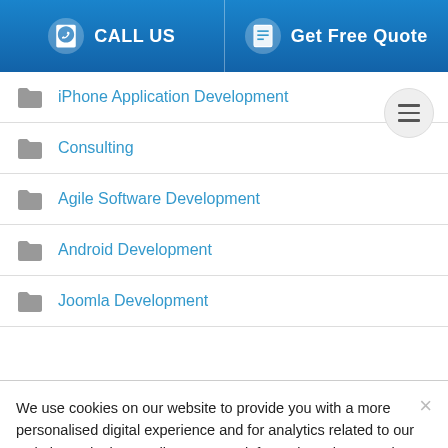CALL US | Get Free Quote
iPhone Application Development
Consulting
Agile Software Development
Android Development
Joomla Development
We use cookies on our website to provide you with a more personalised digital experience and for analytics related to our website and other media. For more information, please review our Privacy Policy and Cookies Policy.
ACCEPT